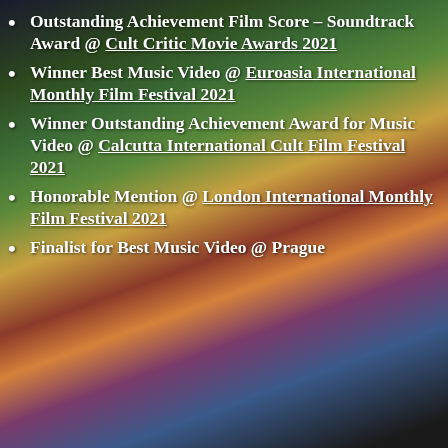Outstanding Achievement Film Score – Soundtrack Award @ Cult Critic Movie Awards 2021
Winner Best Music Video @ Euroasia International Monthly Film Festival 2021
Winner Outstanding Achievement Award for Music Video @ Calcutta International Cult Film Festival 2021
Honorable Mention @ London International Monthly Film Festival 2021
Finalist for Best Music Video @ Prague